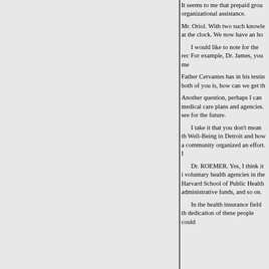It seems to me that prepaid group organizational assistance.
Mr. Oriol. With two such knowle at the clock. We now have an ho
I would like to note for the rec For example, Dr. James, you me
Father Cervantes has in his testin both of you is, how can we get th
Another question, perhaps I can medical care plans and agencies. see for the future.
I take it that you don't mean th Well-Being in Detroit and how a community organized an effort. I
Dr. ROEMER. Yes, I think it i voluntary health agencies in the Harvard School of Public Health administrative funds, and so on.
In the health insurance field th dedication of these people could